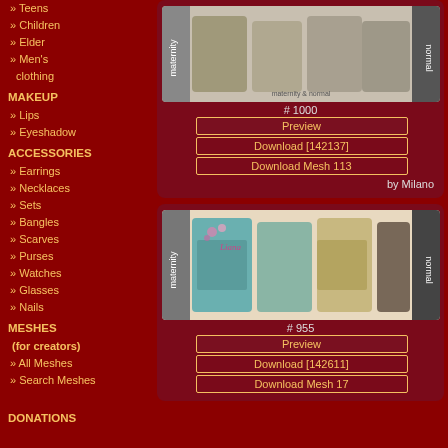» Teens
» Children
» Elder
» Men's clothing
MAKEUP
» Lips
» Eyeshadow
ACCESSORIES
» Earrings
» Necklaces
» Sets
» Bangles
» Scarves
» Purses
» Watches
» Glasses
» Nails
MESHES
(for creators)
» All Meshes
» Search Meshes
DONATIONS
[Figure (photo): Maternity and normal clothing preview showing two female Sims characters in gray patterned outfits. Item #1000.]
# 1000
Preview
Download [142137]
Download Mesh 113
by Milano
[Figure (photo): Maternity and normal clothing preview showing three female Sims characters in floral tops with blue/teal and dark patterns. Item #955.]
# 955
Preview
Download [142611]
Download Mesh 17